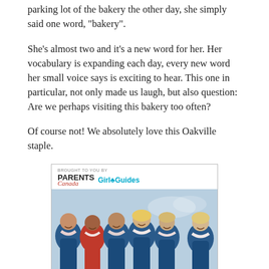parking lot of the bakery the other day, she simply said one word, “bakery”.
She’s almost two and it’s a new word for her. Her vocabulary is expanding each day, every new word her small voice says is exciting to hear. This one in particular, not only made us laugh, but also question: Are we perhaps visiting this bakery too often?
Of course not! We absolutely love this Oakville staple.
[Figure (photo): Advertisement box showing 'Brought to you by Parents Canada and Girl Guides' logos at top, a photo of a group of smiling girls in Girl Guides uniforms with scarves, and a blue banner at the bottom reading 'GIRLS - Get tips and advice on']